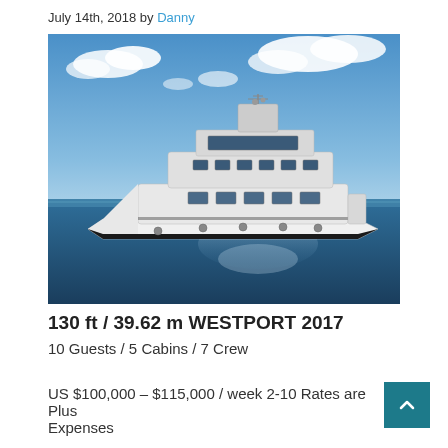July 14th, 2018 by Danny
[Figure (photo): Large white luxury motor yacht anchored on calm blue ocean water under a blue sky with scattered clouds.]
130 ft / 39.62 m WESTPORT 2017
10 Guests / 5 Cabins / 7 Crew
US $100,000 – $115,000 / week 2-10 Rates are Plus Expenses